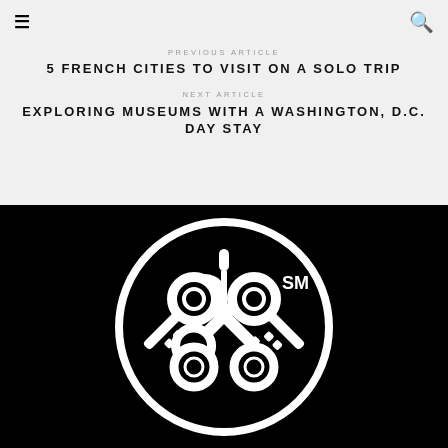≡ (menu) | 🔍 (search)
PREVIOUS ARTICLE
5 FRENCH CITIES TO VISIT ON A SOLO TRIP
NEXT ARTICLE
EXPLORING MUSEUMS WITH A WASHINGTON, D.C. DAY STAY
[Figure (logo): Concierge key logo — white crossed keys inside a white circle on black background, with SM superscript mark]